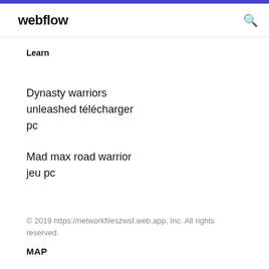webflow
Learn
Dynasty warriors unleashed télécharger pc
Mad max road warrior jeu pc
© 2019 https://networkfileszwsf.web.app, Inc. All rights reserved.
MAP